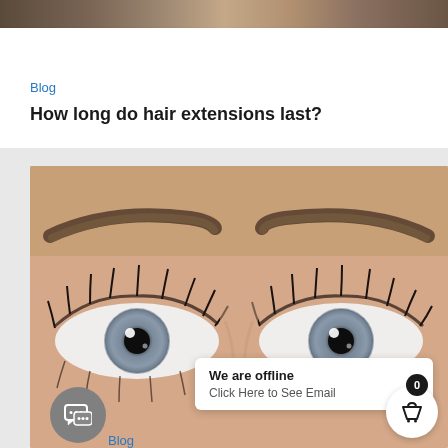[Figure (photo): Top strip showing partial view of a person with blonde/brown hair against dark background]
Blog
How long do hair extensions last?
[Figure (photo): Close-up photo of a woman's eyes with prominent eyebrows, blue-grey irises, and long eyelashes]
We are offline
Click Here to See Email
Blog